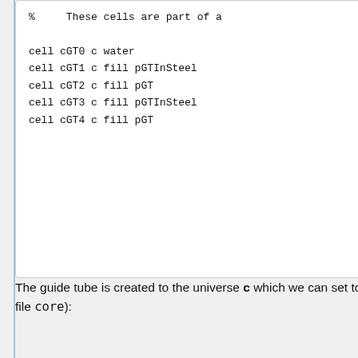% These cells are part of a
cell cGT0 c water
cell cGT1 c fill pGTInSteel
cell cGT2 c fill pGT
cell cGT3 c fill pGTInSteel
cell cGT4 c fill pGT
The guide tube is created to the universe c which we can set to its correct place in the core lattice (in file core):
% --- Pin lattice definition, n
%     Lattice type 1 (square la
%     Lattice centered at 0.0 0
%     29 x 29 lattice elements
%     Lattice pitch 1.80 cm
%     We'll utilize our knowled
%     we'll only have to type i

lat core 1 0.0 0.0 29 29 1.8
_ _ _ _ _ _ _ _ _ _ _ _ _ _  x y